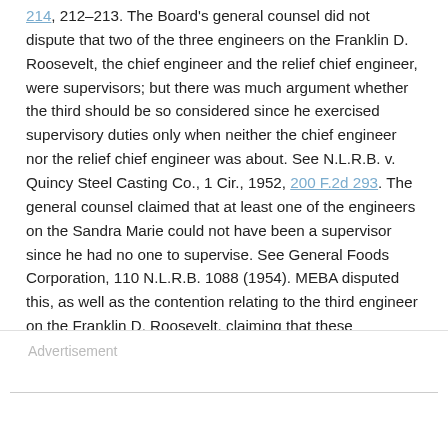...the three engineers on the Franklin D. Roosevelt, the chief engineer and the relief chief engineer, were supervisors; but there was much argument whether the third should be so considered since he exercised supervisory duties only when neither the chief engineer nor the relief chief engineer was about. See N.L.R.B. v. Quincy Steel Casting Co., 1 Cir., 1952, 200 F.2d 293. The general counsel claimed that at least one of the engineers on the Sandra Marie could not have been a supervisor since he had no one to supervise. See General Foods Corporation, 110 N.L.R.B. 1088 (1954). MEBA disputed this, as well as the contention relating to the third engineer on the Franklin D. Roosevelt, claiming that these engineers were qualified and on these ships normally would have someone to supervise.'
Advertisement